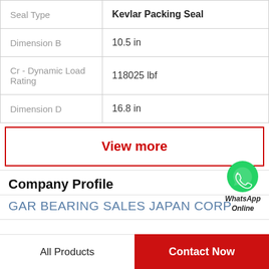| Property | Value |
| --- | --- |
| Seal Type | Kevlar Packing Seal |
| Dimension B | 10.5 in |
| Cr - Dynamic Load Rating | 118025 lbf |
| Dimension D | 16.8 in |
[Figure (illustration): WhatsApp Online logo with green circle and phone icon, with text 'WhatsApp Online']
View more
Company Profile
GAR BEARING SALES JAPAN CORP
All Products
Contact Now